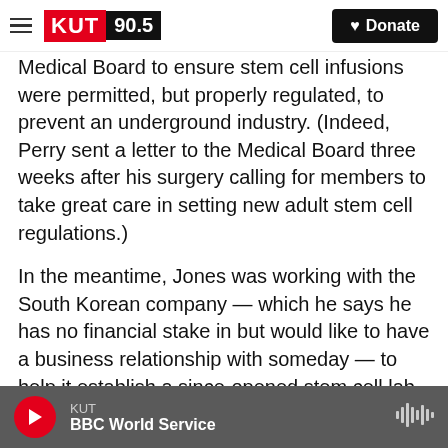KUT 90.5 | Donate
Medical Board to ensure stem cell infusions were permitted, but properly regulated, to prevent an underground industry. (Indeed, Perry sent a letter to the Medical Board three weeks after his surgery calling for members to take great care in setting new adult stem cell regulations.)
In the meantime, Jones was working with the South Korean company — which he says he has no financial stake in but would like to have a business relationship with someday — to help it establish a since-opened stem cell lab outside of Houston.
That company's South Korean headquarters, which
KUT | BBC World Service